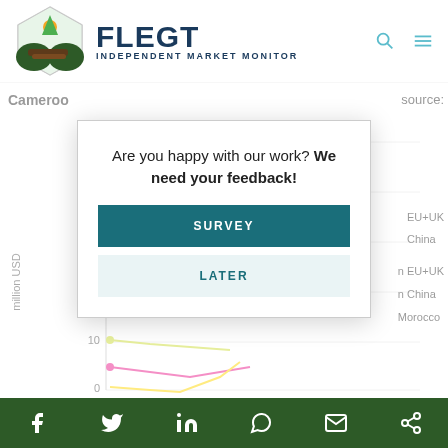FLEGT INDEPENDENT MARKET MONITOR
Cameroon
source:
[Figure (line-chart): Line chart showing Cameroon export values in million USD over time, with multiple colored lines representing EU+UK, China, and Morocco destinations. Y-axis shows values from 0 to 50+ million USD. Data points visible near bottom of chart around 10, 29, 26, 43 million USD range.]
EU+UK
China
n EU+UK
n China
Morocco
Are you happy with our work? We need your feedback!
SURVEY
LATER
Social share icons: Facebook, Twitter, LinkedIn, WhatsApp, Email, Share